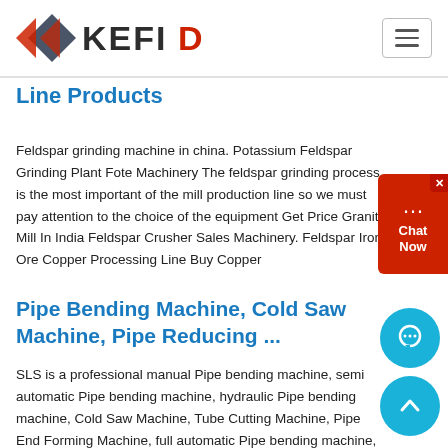KEFID logo and navigation
Line Products
Feldspar grinding machine in china. Potassium Feldspar Grinding Plant Fote Machinery The feldspar grinding process is the most important of the mill production line so we must pay attention to the choice of the equipment Get Price Granite Mill In India Feldspar Crusher Sales Machinery. Feldspar Iron Ore Copper Processing Line Buy Copper
Pipe Bending Machine, Cold Saw Machine, Pipe Reducing ...
SLS is a professional manual Pipe bending machine, semi automatic Pipe bending machine, hydraulic Pipe bending machine, Cold Saw Machine, Tube Cutting Machine, Pipe End Forming Machine, full automatic Pipe bending machine, Pipe Reducing Machine manufacturer from china which have efficient...